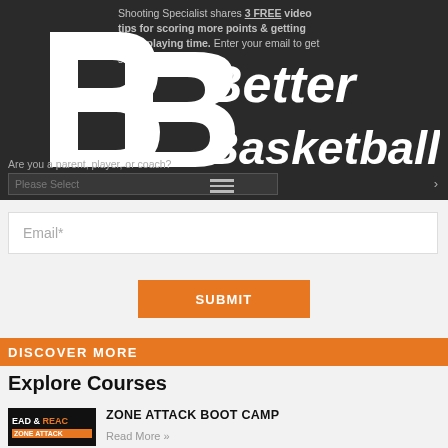Shooting Specialist shares 3 FREE video tips for scoring more points & getting more playing time. Enter your email to get started.
[Figure (logo): Better Basketball logo — large italic BB lettermark in white on dark background, with 'Better Basketball' text in white italic bold]
Are you a parent, player, or coach?
Please Select
Email*
SUBMIT
DISCOVER MORE
Explore Courses
[Figure (photo): Zone Attack Boot Camp course thumbnail — dark background with 'EAD & REAC' in white/orange text and 'ZONE ATTACK' label]
ZONE ATTACK BOOT CAMP
Read More »